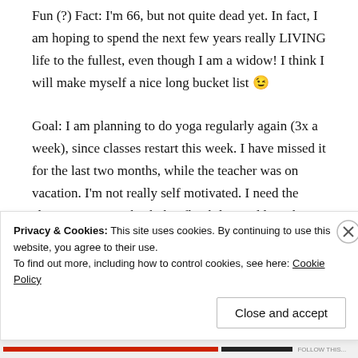Fun (?) Fact: I'm 66, but not quite dead yet. In fact, I am hoping to spend the next few years really LIVING life to the fullest, even though I am a widow! I think I will make myself a nice long bucket list 😉
Goal: I am planning to do yoga regularly again (3x a week), since classes restart this week. I have missed it for the last two months, while the teacher was on vacation. I'm not really self motivated. I need the class. Want to get back that flexibility and lose the tummy again... 😉
Privacy & Cookies: This site uses cookies. By continuing to use this website, you agree to their use. To find out more, including how to control cookies, see here: Cookie Policy